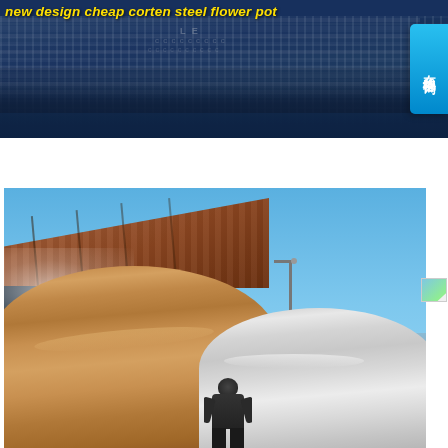new design cheap corten steel flower pot
[Figure (photo): Top banner image showing a dark blue industrial/harbor scene with crowd bleachers and a bridge structure in the background. Yellow italic text reads 'new design cheap corten steel flower pot'. A cyan/blue sidebar button on the right shows Chinese characters 在线咨询 (online consultation).]
[Figure (photo): Industrial photo showing large steel pipes/tanks in the foreground, one with rusty brown coloring and one with silver metallic finish. Background shows a warehouse shed with corrugated rust-colored roof, blue sky, a street light, and what appears to be mist or steam. A worker figure is visible at the bottom of the frame.]